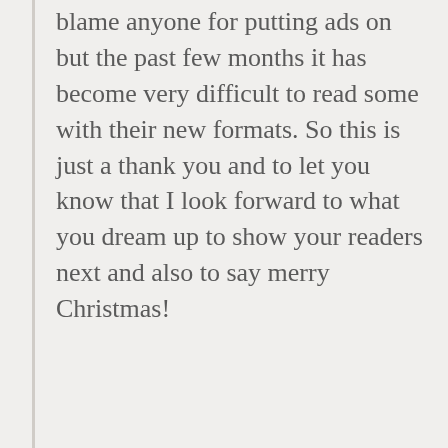blame anyone for putting ads on but the past few months it has become very difficult to read some with their new formats. So this is just a thank you and to let you know that I look forward to what you dream up to show your readers next and also to say merry Christmas!
Loading...
Reply
Privacy & Cookies: This site uses cookies. By continuing to use this website, you agree to their use.
To find out more, including how to control cookies, see here:
Cookie Policy
Close and accept
your comments. :) You expressed